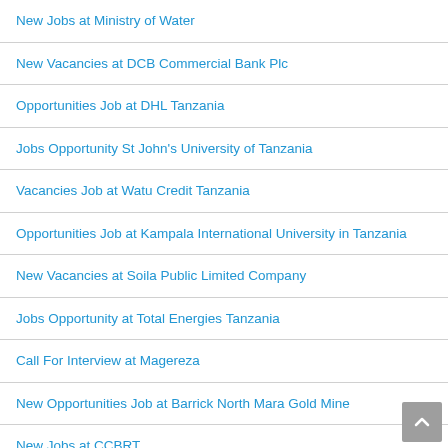New Jobs at Ministry of Water
New Vacancies at DCB Commercial Bank Plc
Opportunities Job at DHL Tanzania
Jobs Opportunity St John's University of Tanzania
Vacancies Job at Watu Credit Tanzania
Opportunities Job at Kampala International University in Tanzania
New Vacancies at Soila Public Limited Company
Jobs Opportunity at Total Energies Tanzania
Call For Interview at Magereza
New Opportunities Job at Barrick North Mara Gold Mine
New Jobs at CCBRT